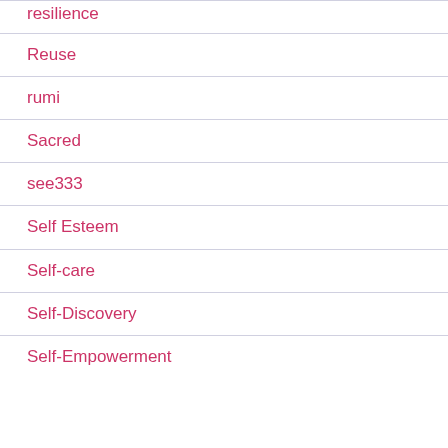resilience
Reuse
rumi
Sacred
see333
Self Esteem
Self-care
Self-Discovery
Self-Empowerment